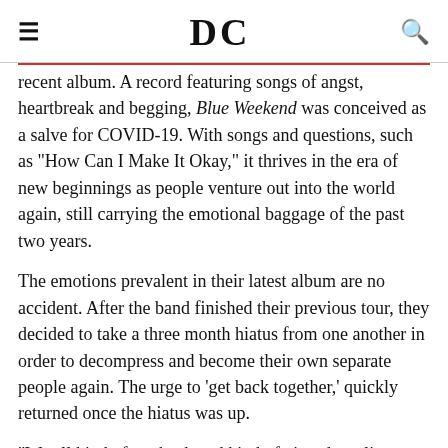DC
recent album. A record featuring songs of angst, heartbreak and begging, Blue Weekend was conceived as a salve for COVID-19. With songs and questions, such as "How Can I Make It Okay," it thrives in the era of new beginnings as people venture out into the world again, still carrying the emotional baggage of the past two years.
The emotions prevalent in their latest album are no accident. After the band finished their previous tour, they decided to take a three month hiatus from one another in order to decompress and become their own separate people again. The urge to 'get back together,' quickly returned once the hiatus was up.
"We all kind of got back and kind of pieced our lives